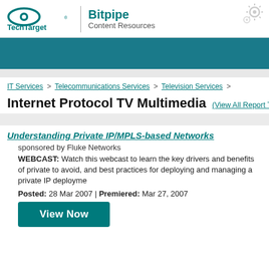[Figure (logo): TechTarget Bitpipe Content Resources logo with gear/network icon]
IT Services > Telecommunications Services > Television Services >
Internet Protocol TV Multimedia
(View All Report Types)
Understanding Private IP/MPLS-based Networks
sponsored by Fluke Networks
WEBCAST: Watch this webcast to learn the key drivers and benefits of private to avoid, and best practices for deploying and managing a private IP deployme
Posted: 28 Mar 2007 | Premiered: Mar 27, 2007
View Now